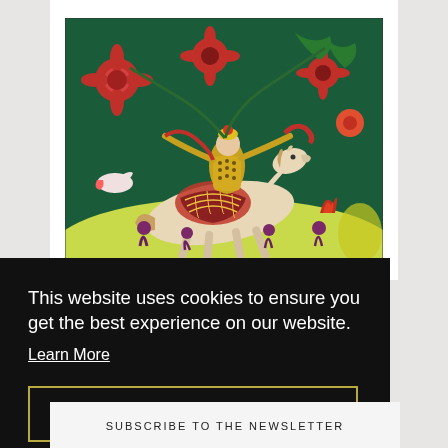[Figure (illustration): Folk art style painting on dark green background: a figure in a yellow patterned outfit standing/riding on a white horse in motion, surrounded by colorful red and orange stylized flowers, floral motifs, with a yellow-green ground area and dark purple flowers at the bottom.]
This website uses cookies to ensure you get the best experience on our website.
Learn More
Got it!
SUBSCRIBE TO THE NEWSLETTER